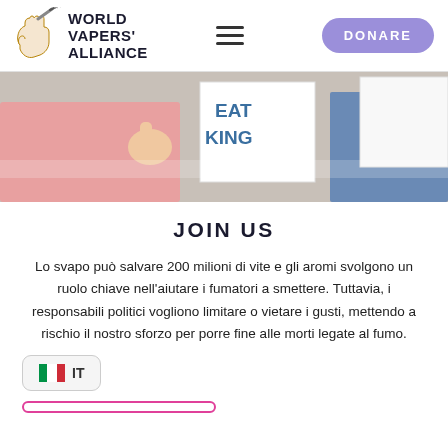World Vapers' Alliance — DONARE
[Figure (photo): Photo of people at a rally holding signs, one person giving thumbs up wearing a pink shirt, partial text 'EAT KING' visible on signs]
JOIN US
Lo svapo può salvare 200 milioni di vite e gli aromi svolgono un ruolo chiave nell'aiutare i fumatori a smettere. Tuttavia, i responsabili politici vogliono limitare o vietare i gusti, mettendo a rischio il nostro sforzo per porre fine alle morti legate al fumo.
IT